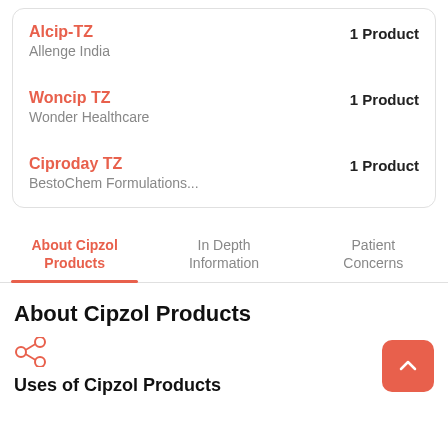Alcip-TZ
Allenge India
1 Product
Woncip TZ
Wonder Healthcare
1 Product
Ciproday TZ
BestoChem Formulations...
1 Product
About Cipzol Products
In Depth Information
Patient Concerns
About Cipzol Products
[Figure (illustration): Share/network icon in salmon/coral color]
Uses of Cipzol Products